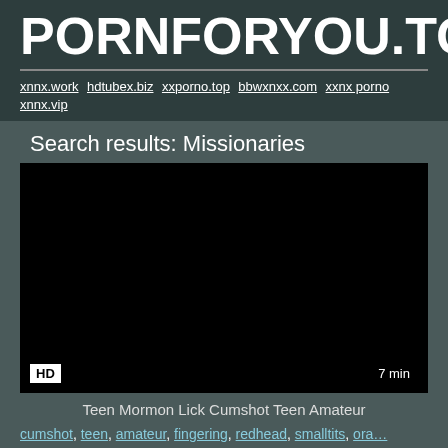PORNFORYOU.TOP
xnnx.work hdtubex.biz xxporno.top bbwxnxx.com xxnx porno xnnx.vip
Search results: Missionaries
[Figure (screenshot): Black video thumbnail with HD badge and 7 min duration label]
Teen Mormon Lick Cumshot Teen Amateur
cumshot, teen, amateur, fingering, redhead, smalltits, ora...